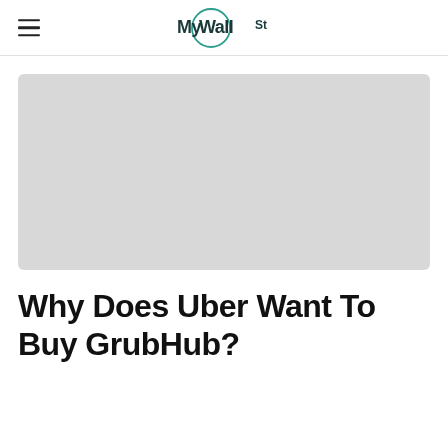MyWallSt
[Figure (photo): Gray placeholder image for article header photo]
Why Does Uber Want To Buy GrubHub?